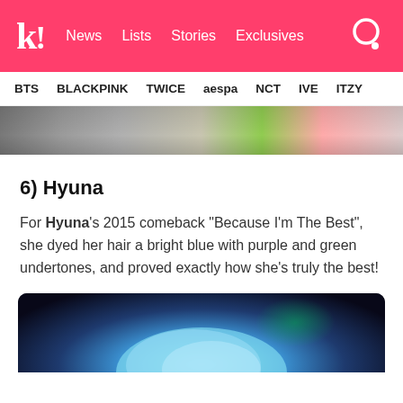k! News Lists Stories Exclusives
BTS BLACKPINK TWICE aespa NCT IVE ITZY
[Figure (photo): Top cropped image strip showing people at an event with colorful items]
6) Hyuna
For Hyuna's 2015 comeback “Because I’m The Best”, she dyed her hair a bright blue with purple and green undertones, and proved exactly how she’s truly the best!
[Figure (photo): Bottom image showing a performer with bright blue/purple hair under stage lighting with green background tones]